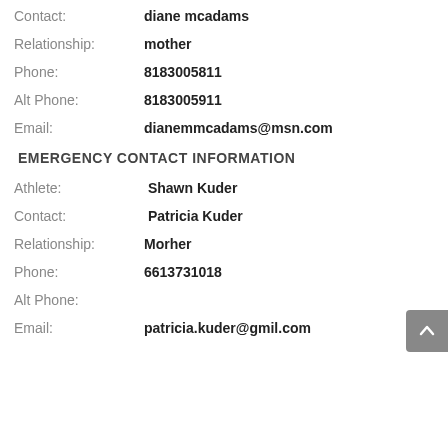Contact: diane mcadams
Relationship: mother
Phone: 8183005811
Alt Phone: 8183005911
Email: dianemmcadams@msn.com
EMERGENCY CONTACT INFORMATION
Athlete: Shawn Kuder
Contact: Patricia Kuder
Relationship: Morher
Phone: 6613731018
Alt Phone:
Email: patricia.kuder@gmil.com